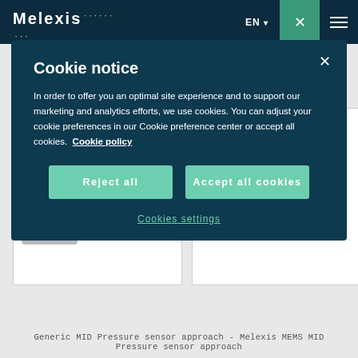Melexis | EN | × | ≡
Cookie notice
In order to offer you an optimal site experience and to support our marketing and analytics efforts, we use cookies. You can adjust your cookie preferences in our Cookie preference center or accept all cookies.  Cookie policy
Reject all
Accept all cookies
Cookies settings
[Figure (photo): Product card showing a ceramic pressure sensor assembly with cylindrical housing on left; list items: Ceramic sensor, PCB with signal processing, Connector and housing]
[Figure (photo): Product card showing MLX90819 MEMS sensor with PCB (green) and black cylindrical housing; items: MLX90819 sensing and signal processing, PCB, Connector and housing]
Generic MID Pressure sensor approach - Melexis MEMS MID Pressure sensor approach